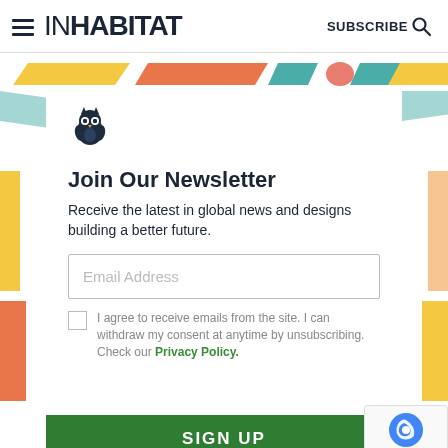INHABIT | SUBSCRIBE
[Figure (illustration): Colorful decorative parallelogram shapes strip in yellow, orange, teal, and salmon colors across the top of the newsletter section]
[Figure (logo): Inhabitat owl logo icon in dark navy blue]
Join Our Newsletter
Receive the latest in global news and designs building a better future.
Email Address
I agree to receive emails from the site. I can withdraw my consent at anytime by unsubscribing. Check our Privacy Policy.
SIGN UP